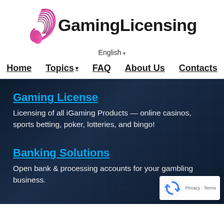[Figure (logo): GamingLicensing logo with stylized pink/purple swirl icon and bold black text 'GamingLicensing']
English ▾
Home  Topics ▾  FAQ  About Us  Contacts
Gaming License
Licensing of all iGaming Products — online casinos, sports betting, poker, lotteries, and bingo!
Banking Solutions
Open bank & processing accounts for your gambling business.